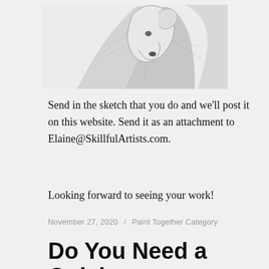[Figure (illustration): Partial pencil sketch of a dog (collie/wolf-like breed) showing the head and fur, cropped at bottom of image area]
Send in the sketch that you do and we'll post it on this website. Send it as an attachment to Elaine@SkillfulArtists.com.
Looking forward to seeing your work!
November 27, 2020 / Paint Together Category
Do You Need a Quick Painting for a Gift?